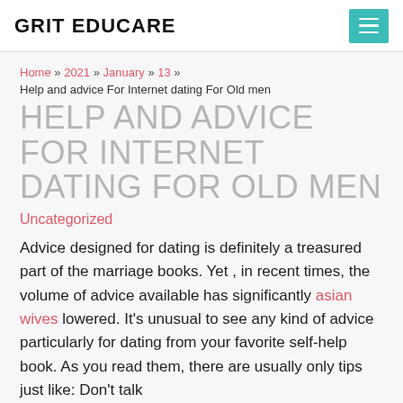GRIT EDUCARE
Home » 2021 » January » 13 » Help and advice For Internet dating For Old men
HELP AND ADVICE FOR INTERNET DATING FOR OLD MEN
Uncategorized
Advice designed for dating is definitely a treasured part of the marriage books. Yet , in recent times, the volume of advice available has significantly asian wives lowered. It's unusual to see any kind of advice particularly for dating from your favorite self-help book. As you read them, there are usually only tips just like: Don't talk